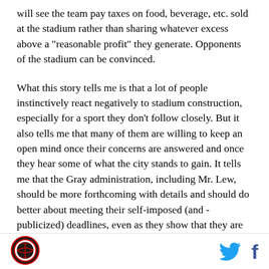will see the team pay taxes on food, beverage, etc. sold at the stadium rather than sharing whatever excess above a "reasonable profit" they generate. Opponents of the stadium can be convinced.
What this story tells me is that a lot of people instinctively react negatively to stadium construction, especially for a sport they don't follow closely. But it also tells me that many of them are willing to keep an open mind once their concerns are answered and once they hear some of what the city stands to gain. It tells me that the Gray administration, including Mr. Lew, should be more forthcoming with details and should do better about meeting their self-imposed (and - publicized) deadlines, even as they show that they are
[Figure (logo): Circular sports team logo with red and black colors]